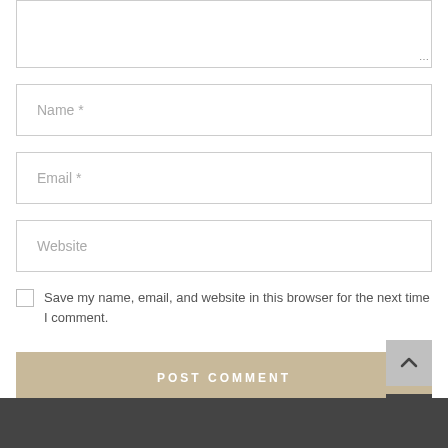[Figure (screenshot): Textarea input box (comment area), partially visible at top]
Name *
Email *
Website
Save my name, email, and website in this browser for the next time I comment.
POST COMMENT